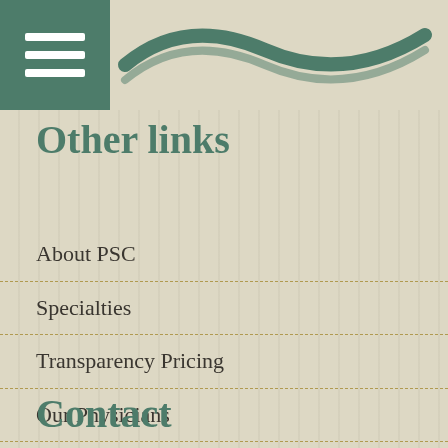Other links
About PSC
Specialties
Transparency Pricing
Our Physicians
Patient Resources
Contact
Contact